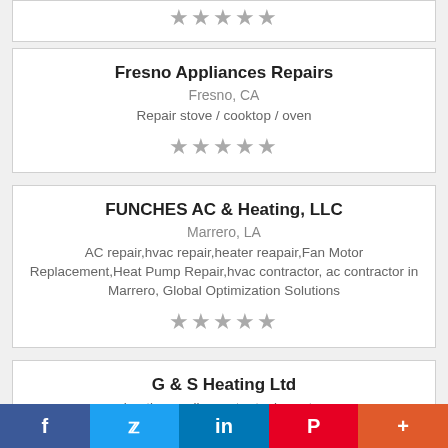★★★★★
Fresno Appliances Repairs
Fresno, CA
Repair stove / cooktop / oven
★★★★★
FUNCHES AC & Heating, LLC
Marrero, LA
AC repair,hvac repair,heater reapair,Fan Motor Replacement,Heat Pump Repair,hvac contractor, ac contractor in Marrero, Global Optimization Solutions
★★★★★
G & S Heating Ltd
heating cooling water tanks water
f  🐦  in  P  +